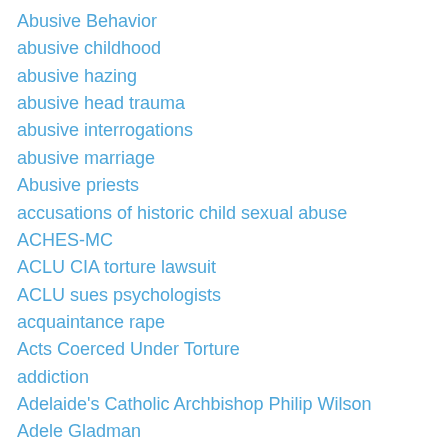Abusive Behavior
abusive childhood
abusive hazing
abusive head trauma
abusive interrogations
abusive marriage
Abusive priests
accusations of historic child sexual abuse
ACHES-MC
ACLU CIA torture lawsuit
ACLU sues psychologists
acquaintance rape
Acts Coerced Under Torture
addiction
Adelaide's Catholic Archbishop Philip Wilson
Adele Gladman
Admiral Stansfield Turner
Adolf Eichmann
Adolf Hitler
Adolfo Constanzo